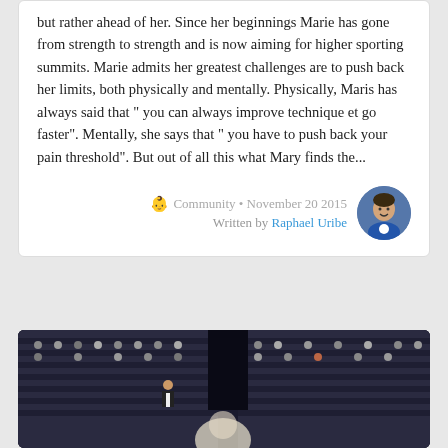but rather ahead of her. Since her beginnings Marie has gone from strength to strength and is now aiming for higher sporting summits. Marie admits her greatest challenges are to push back her limits, both physically and mentally. Physically, Maris has always said that " you can always improve technique et go faster". Mentally, she says that " you have to push back your pain threshold". But out of all this what Mary finds the...
Community • November 20 2015 Written by Raphael Uribe
[Figure (photo): Indoor sports arena with audience seating partially filled with spectators, dark background, with a blurred athlete figure in the foreground.]